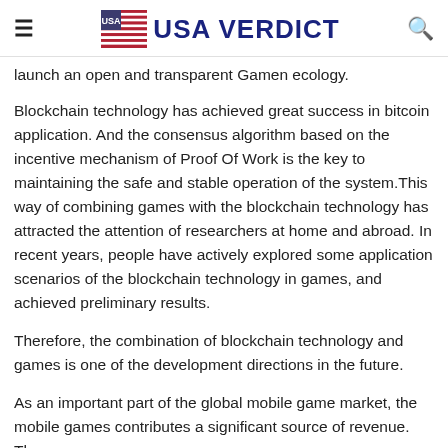USA VERDICT
launch an open and transparent Gamen ecology.
Blockchain technology has achieved great success in bitcoin application. And the consensus algorithm based on the incentive mechanism of Proof Of Work is the key to maintaining the safe and stable operation of the system.This way of combining games with the blockchain technology has attracted the attention of researchers at home and abroad. In recent years, people have actively explored some application scenarios of the blockchain technology in games, and achieved preliminary results.
Therefore, the combination of blockchain technology and games is one of the development directions in the future.
As an important part of the global mobile game market, the mobile games contributes a significant source of revenue. The